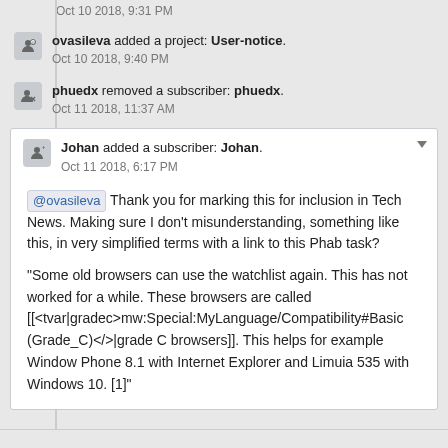Oct 10 2018, 9:31 PM
ovasileva added a project: User-notice.
Oct 10 2018, 9:40 PM
phuedx removed a subscriber: phuedx.
Oct 11 2018, 11:37 AM
Johan added a subscriber: Johan.
Oct 11 2018, 6:17 PM
@ovasileva Thank you for marking this for inclusion in Tech News. Making sure I don't misunderstanding, something like this, in very simplified terms with a link to this Phab task?

"Some old browsers can use the watchlist again. This has not worked for a while. These browsers are called [[<tvar|gradec>mw:Special:MyLanguage/Compatibility#Basic (Grade_C)</>|grade C browsers]]. This helps for example Window Phone 8.1 with Internet Explorer and Limuia 535 with Windows 10. [1]"